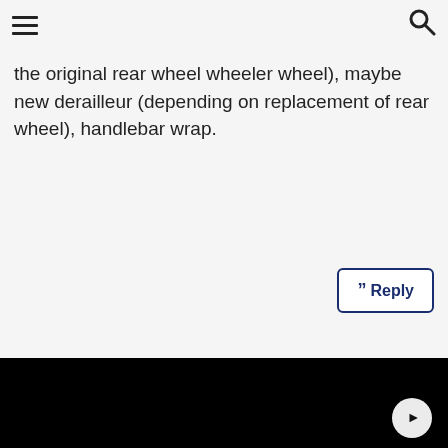the original rear wheel wheeler wheel), maybe new derailleur (depending on replacement of rear wheel), handlebar wrap.
[Figure (screenshot): Black video player area with a play button in the bottom right corner]